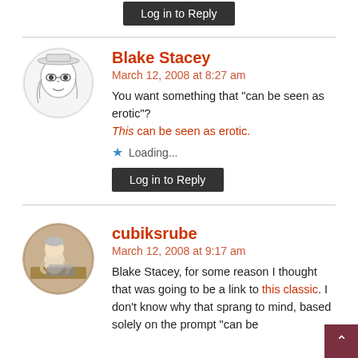Log in to Reply
Blake Stacey
March 12, 2008 at 8:27 am
You want something that "can be seen as erotic"? This can be seen as erotic.
Loading...
Log in to Reply
cubiksrube
March 12, 2008 at 9:17 am
Blake Stacey, for some reason I thought that was going to be a link to this classic. I don't know why that sprang to mind, based solely on the prompt "can be